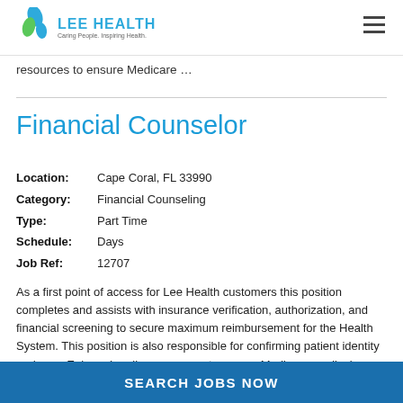LEE HEALTH — Caring People. Inspiring Health.
resources to ensure Medicare …
Financial Counselor
| Field | Value |
| --- | --- |
| Location: | Cape Coral, FL 33990 |
| Category: | Financial Counseling |
| Type: | Part Time |
| Schedule: | Days |
| Job Ref: | 12707 |
As a first point of access for Lee Health customers this position completes and assists with insurance verification, authorization, and financial screening to secure maximum reimbursement for the Health System. This position is also responsible for confirming patient identity and uses Epic and on-line resources to ensure Medicare medical
SEARCH JOBS NOW